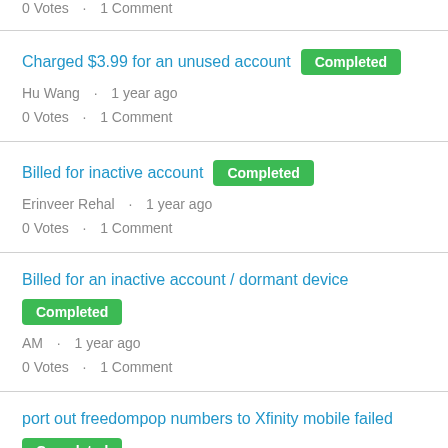0 Votes · 1 Comment
Charged $3.99 for an unused account  Completed
Hu Wang · 1 year ago
0 Votes · 1 Comment
Billed for inactive account  Completed
Erinveer Rehal · 1 year ago
0 Votes · 1 Comment
Billed for an inactive account / dormant device  Completed
AM · 1 year ago
0 Votes · 1 Comment
port out freedompop numbers to Xfinity mobile failed